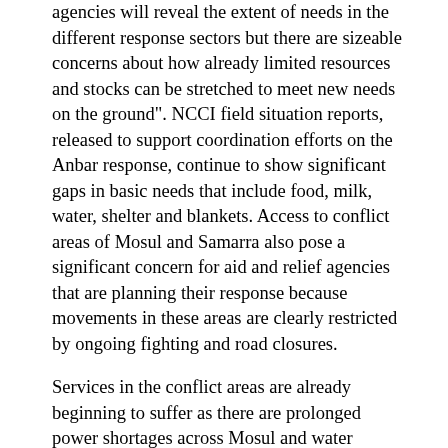agencies will reveal the extent of needs in the different response sectors but there are sizeable concerns about how already limited resources and stocks can be stretched to meet new needs on the ground". NCCI field situation reports, released to support coordination efforts on the Anbar response, continue to show significant gaps in basic needs that include food, milk, water, shelter and blankets. Access to conflict areas of Mosul and Samarra also pose a significant concern for aid and relief agencies that are planning their response because movements in these areas are clearly restricted by ongoing fighting and road closures.
Services in the conflict areas are already beginning to suffer as there are prolonged power shortages across Mosul and water shortages that are predominantly affecting those situated in Western parts of the city. Markets and shopping areas are closing in insecure areas close to the fighting and there are reports that at least one ambulance was targeted by shelling. Schools and government offices are also predominantly shut. Curfews have been called in the Eastern half of Mosul city and fleeing IDPs have not been able to take with them much more than a few clothing items and some core essentials. As aid agencies await the results of official figures emanating from needs assessments, the efforts of humanitarian actors to highlight the impact of the devastating developments will continue. One question remains which is: